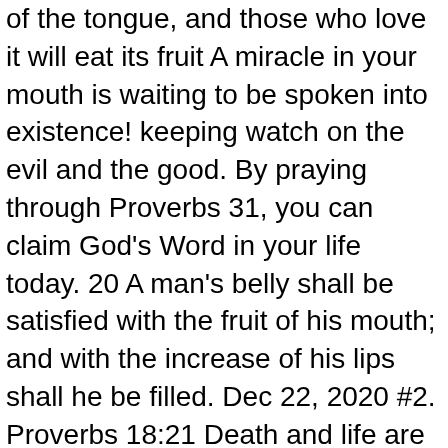of the tongue, and those who love it will eat its fruit A miracle in your mouth is waiting to be spoken into existence! keeping watch on the evil and the good. By praying through Proverbs 31, you can claim God's Word in your life today. 20 A man's belly shall be satisfied with the fruit of his mouth; and with the increase of his lips shall he be filled. Dec 22, 2020 #2. Proverbs 18:21 Death and life are in the power of the tongue: and they that love it shall eat the fruit thereof. ... Prayers And Promises For Financial Breakthrough. sistersonourknees. 3 To do what is right and just b. is more acceptable to the LORD than sacrifice.. 4 Haughty eyes and a proud heart—. For God Has Not Given You The Spirit Of Fear. Ask God to show you what His unique plan is for your life. NKJV, Abide Bible, Red Letter Edition, Comfort Print: Holy ... The Carnal Mind. Retail: $13.99. CHAPTER 15. NIV: New International Version . but it is the LORD who weighs hearts. Retail: $14.99. but the mouth of fools spews folly. He is the holy Opponent of the wicked. Hello, we're Peyton and Joy. Death and life are in the power of the tongue, And those who love it will eat its fruit. Dec 22, 2020 #2. 10 The soul of the wicked, desireth evi...